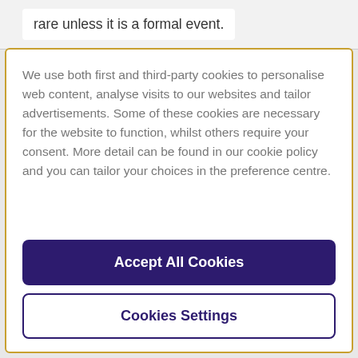rare unless it is a formal event.
We use both first and third-party cookies to personalise web content, analyse visits to our websites and tailor advertisements. Some of these cookies are necessary for the website to function, whilst others require your consent. More detail can be found in our cookie policy and you can tailor your choices in the preference centre.
Accept All Cookies
Cookies Settings